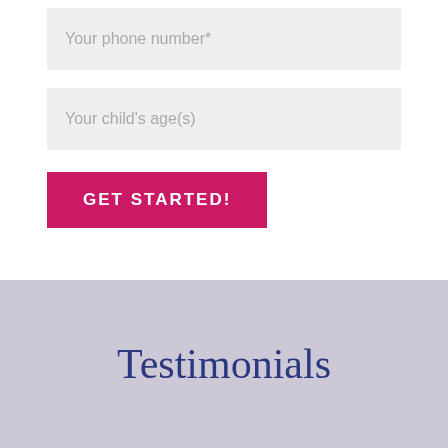Your phone number*
Your child's age(s)
GET STARTED!
Testimonials